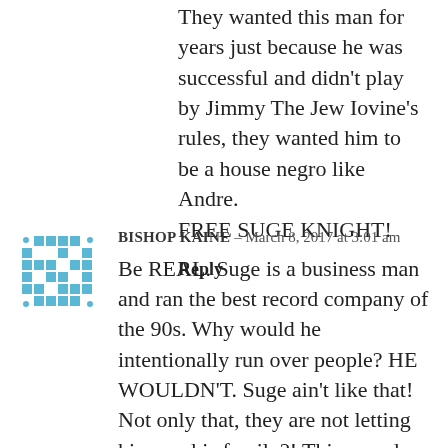They wanted this man for years just because he was successful and didn't play by Jimmy The Jew Iovine's rules, they wanted him to be a house negro like Andre. FREE SUGE KNIGHT!
Reply
[Figure (illustration): Blue pixelated/mosaic avatar icon with diamond pattern]
BISHOP KAINE – March 8, 2017 at 3:01 am
Be REAL. Suge is a business man and ran the best record company of the 90s. Why would he intentionally run over people? HE WOULDN'T. Suge ain't like that! Not only that, they are not letting him see his family?! This sounds like the government is involved in this. I had family and friends who have been locked up but was able to take calls and visits. This sounds like they want Suge to tell